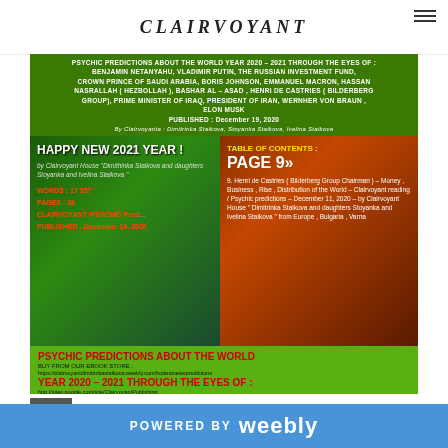CLAIRVOYANT HOUSE
[Figure (screenshot): Composite promotional image for psychic predictions ebook about world year 2020-2021. Green top banner with book title listing world leaders. Below is split image: left side with blue/nature background showing Happy New Year 2021 text, word count, pages, and publication info; right side with fire/dramatic background showing Table of Contents Page 9 entry about Henri de Castries. Bottom green overlay with psychic predictions title and website URLs.]
POWERED BY weebly